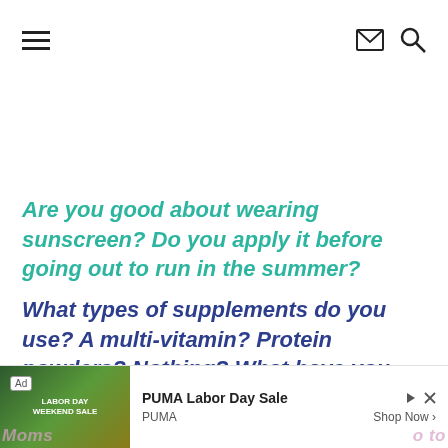Navigation bar with hamburger menu, envelope icon, and search icon
Are you good about wearing sunscreen?  Do you apply it before going out to run in the summer?
What types of supplements do you use?  A multi-vitamin?  Protein powders?  Nothing?   What have you tried in the past?
[Figure (other): Advertisement banner: PUMA Labor Day Sale ad with image of athlete, Ad badge, close/skip icons, PUMA branding, and Shop Now button. Partially visible pink italic text on left and right: 'Moms' and 'o to']